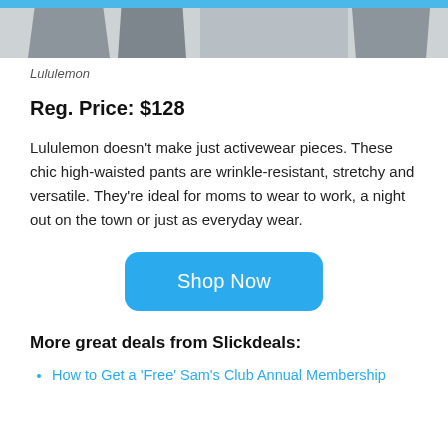[Figure (photo): Cropped product image showing lower portion of Lululemon high-waisted pants, against a blue and grey background]
Lululemon
Reg. Price: $128
Lululemon doesn't make just activewear pieces. These chic high-waisted pants are wrinkle-resistant, stretchy and versatile. They're ideal for moms to wear to work, a night out on the town or just as everyday wear.
[Figure (other): Blue rounded rectangle button with text 'Shop Now']
More great deals from Slickdeals:
How to Get a 'Free' Sam's Club Annual Membership